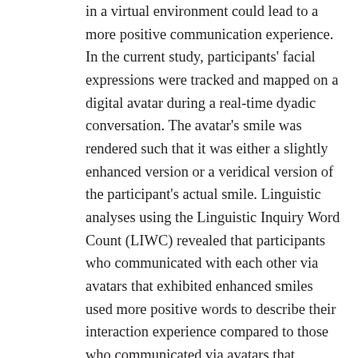in a virtual environment could lead to a more positive communication experience. In the current study, participants' facial expressions were tracked and mapped on a digital avatar during a real-time dyadic conversation. The avatar's smile was rendered such that it was either a slightly enhanced version or a veridical version of the participant's actual smile. Linguistic analyses using the Linguistic Inquiry Word Count (LIWC) revealed that participants who communicated with each other via avatars that exhibited enhanced smiles used more positive words to describe their interaction experience compared to those who communicated via avatars that displayed smiling behavior reflecting the participants' actual smiles. In addition, self-report measures showed that participants in the 'enhanced smile' condition felt more positive affect after the conversation and experienced